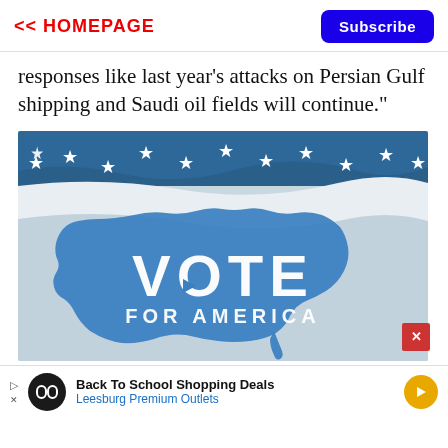<< HOMEPAGE
responses like last year's attacks on Persian Gulf shipping and Saudi oil fields will continue."
[Figure (photo): A blue and white waving flag with stars along the top and the outline of the United States in blue, with large white text reading 'VOTE FOR AMERICA']
Back To School Shopping Deals Leesburg Premium Outlets